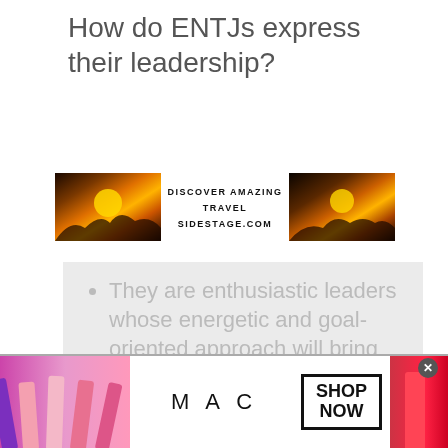How do ENTJs express their leadership?
[Figure (infographic): Travel advertisement banner showing sunset landscape images on left and right with center text: DISCOVER AMAZING TRAVEL SIDESTAGE.COM]
They are enthusiastic leaders whose energetic and goal-oriented approach will bring people together
[Figure (infographic): MAC cosmetics advertisement showing lipsticks, MAC logo, SHOP NOW box, and close button]